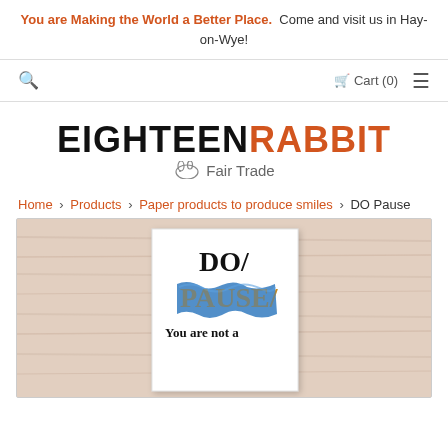You are Making the World a Better Place. Come and visit us in Hay-on-Wye!
🔍   🛒 Cart (0)   ☰
[Figure (logo): Eighteen Rabbit Fair Trade logo — EIGHTEEN in bold black, RABBIT in bold orange, with a pig/rabbit icon and 'Fair Trade' text below]
Home › Products › Paper products to produce smiles › DO Pause
[Figure (photo): Product photo of the DO/PAUSE book cover against a light wood background. The cover shows 'DO/' in black serif, 'PAUSE/' in orange serif with blue painted hand over it, and 'You are not a' text below.]